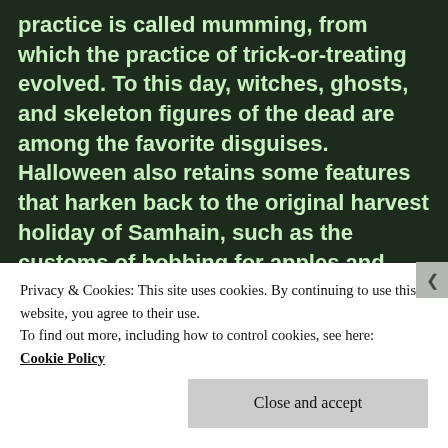practice is called mumming, from which the practice of trick-or-treating evolved. To this day, witches, ghosts, and skeleton figures of the dead are among the favorite disguises. Halloween also retains some features that harken back to the original harvest holiday of Samhain, such as the customs of bobbing for apples and carving vegetables, as well as the fruits, nuts, and spices cider associated with the day.
Today Halloween is becoming once again an adult holiday or masquerade, like mardi Gras. Men and women in every disguise imaginable are taking to the streets of big American
Privacy & Cookies: This site uses cookies. By continuing to use this website, you agree to their use.
To find out more, including how to control cookies, see here:
Cookie Policy
Close and accept